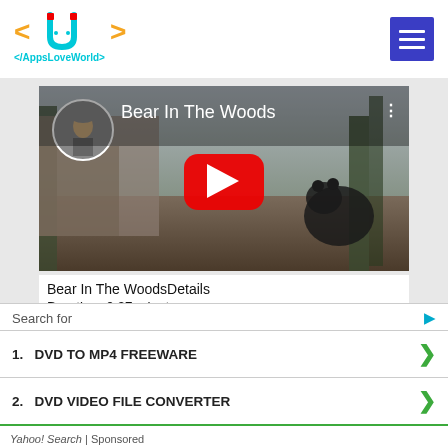[Figure (logo): AppsLoveWorld logo with magnet icon and cyan/orange bracket markup design]
[Figure (screenshot): YouTube video thumbnail for 'Bear In The Woods' showing a woman and a black bear in a snowy forest, with red play button overlay]
Bear In The WoodsDetails
Duration- 0:27 minutes
Codec: H264 – MPEG-4 AVC
Search for
1. DVD TO MP4 FREEWARE
2. DVD VIDEO FILE CONVERTER
Yahoo! Search | Sponsored